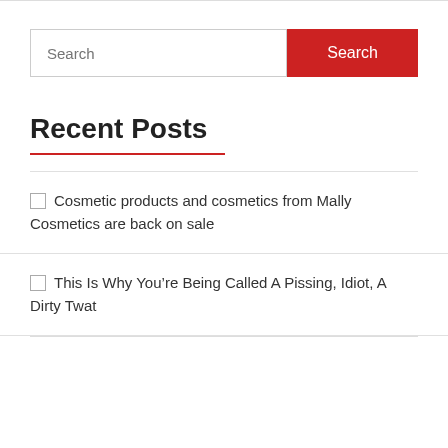[Figure (screenshot): Search input field with placeholder text 'Search' and a red 'Search' button to its right]
Recent Posts
Cosmetic products and cosmetics from Mally Cosmetics are back on sale
This Is Why You’re Being Called A Pissing, Idiot, A Dirty Twat